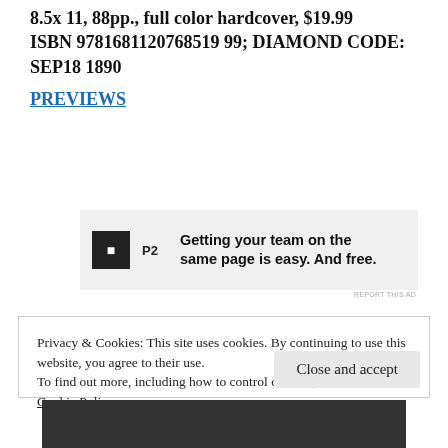8.5x 11, 88pp., full color hardcover, $19.99 ISBN 9781681120768519 99; DIAMOND CODE: SEP18 1890
PREVIEWS
[Figure (infographic): Advertisement banner for P2 service: logo with 'P2' in a dark square, text reading 'Getting your team on the same page is easy. And free.']
REPORT THIS AD
Privacy & Cookies: This site uses cookies. By continuing to use this website, you agree to their use.
To find out more, including how to control cookies, see here:
Cookie Policy
Close and accept